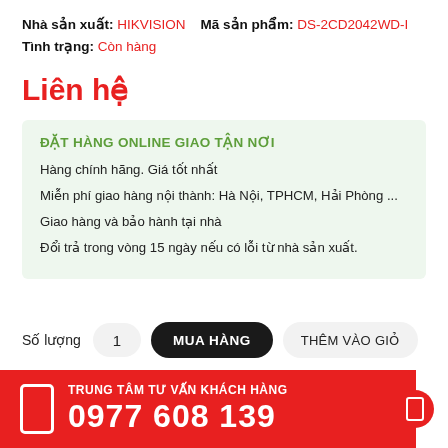Nhà sản xuất: HIKVISION   Mã sản phẩm: DS-2CD2042WD-I
Tình trạng: Còn hàng
Liên hệ
ĐẶT HÀNG ONLINE GIAO TẬN NƠI
Hàng chính hãng. Giá tốt nhất
Miễn phí giao hàng nội thành: Hà Nội, TPHCM, Hải Phòng ...
Giao hàng và bảo hành tại nhà
Đổi trả trong vòng 15 ngày nếu có lỗi từ nhà sản xuất.
Số lượng   1   MUA HÀNG   THÊM VÀO GIỎ
TRUNG TÂM TƯ VẤN KHÁCH HÀNG
0977 608 139